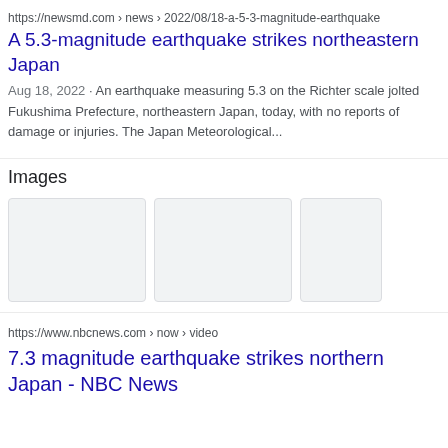https://newsmd.com › news › 2022/08/18-a-5-3-magnitude-earthquake
A 5.3-magnitude earthquake strikes northeastern Japan
Aug 18, 2022 · An earthquake measuring 5.3 on the Richter scale jolted Fukushima Prefecture, northeastern Japan, today, with no reports of damage or injuries. The Japan Meteorological...
Images
[Figure (photo): Three image thumbnails in a row (image search results), appearing as grey placeholder boxes]
https://www.nbcnews.com › now › video
7.3 magnitude earthquake strikes northern Japan - NBC News